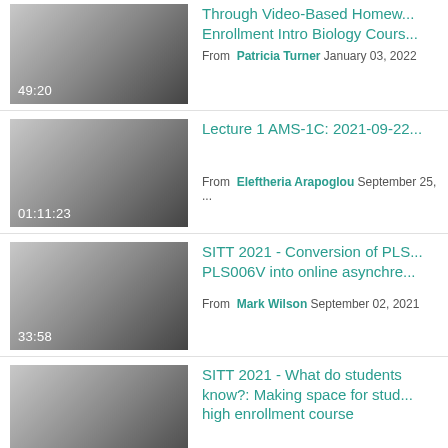[Figure (screenshot): Video thumbnail with gradient and duration 49:20]
Through Video-Based Homew... Enrollment Intro Biology Cours... From Patricia Turner January 03, 2022
[Figure (screenshot): Video thumbnail with gradient and duration 01:11:23]
Lecture 1 AMS-1C: 2021-09-22... From Eleftheria Arapoglou September 25, ...
[Figure (screenshot): Video thumbnail with gradient and duration 33:58]
SITT 2021 - Conversion of PLS... PLS006V into online asynchre... From Mark Wilson September 02, 2021
[Figure (screenshot): Video thumbnail with gradient and duration 15:47]
SITT 2021 - What do students know?: Making space for stud... high enrollment course